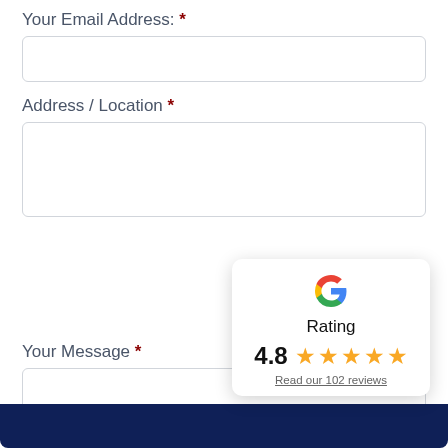Your Email Address: *
Address / Location *
Your Message *
[Figure (other): Google rating popup widget showing a Google 'G' logo, the word 'Rating', a score of 4.8 out of 5 with five gold stars, and a link 'Read our 102 reviews']
4.8
Read our 102 reviews